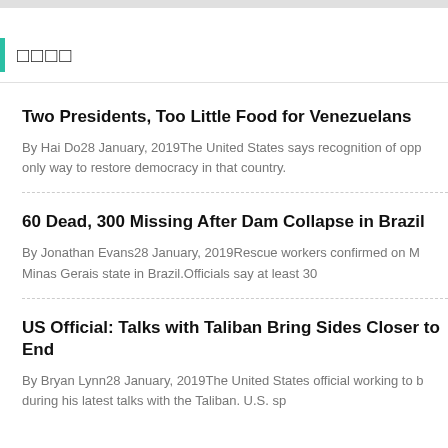□□□□
Two Presidents, Too Little Food for Venezuelans
By Hai Do28 January, 2019The United States says recognition of opp only way to restore democracy in that country.
60 Dead, 300 Missing After Dam Collapse in Brazil
By Jonathan Evans28 January, 2019Rescue workers confirmed on M Minas Gerais state in Brazil.Officials say at least 30
US Official: Talks with Taliban Bring Sides Closer to End
By Bryan Lynn28 January, 2019The United States official working to b during his latest talks with the Taliban. U.S. sp